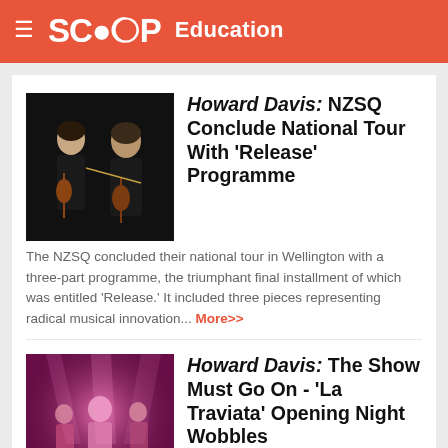SCOOP Education
Howard Davis: NZSQ Conclude National Tour With 'Release' Programme
The NZSQ concluded their national tour in Wellington with a three-part programme, the triumphant final installment of which was entitled 'Release.' It included three pieces representing radical musical innovation... More>>
Howard Davis: The Show Must Go On - 'La Traviata' Opening Night Wobbles
Casting problems have beset 'La Traviata' since its first performance in March 1853 at Venice's La Fenice opera house. Sadly, Saturday night's premiere at Wellington's newly-restored St James Theatre proved no different... More>>